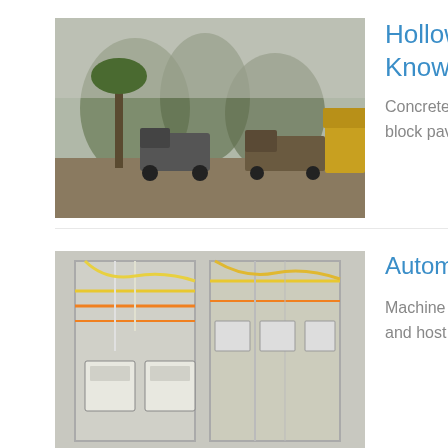[Figure (photo): Outdoor scene with trucks and palm trees on a dirt road]
Hollow Block Machines - Know More
Concrete Block Machines Manufacturers and exporters from Coimbatore provides concrete block paving block machines and other engineering machines like ,...
[Figure (photo): Industrial electrical control panel with wiring and meters]
Automatic Multi Blocks Making Machine - Know More
Machine description The whole production line includes soil crusher, mixer, conveyor belt, and host machine